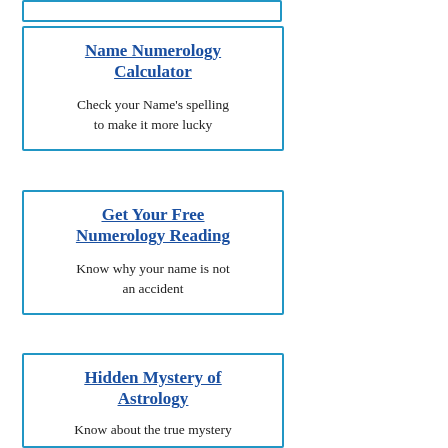[Figure (other): Top partial card stub (cropped from above)]
Name Numerology Calculator
Check your Name's spelling to make it more lucky
Get Your Free Numerology Reading
Know why your name is not an accident
Hidden Mystery of Astrology
Know about the true mystery